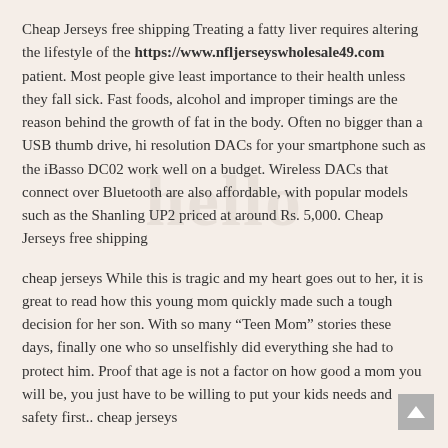Cheap Jerseys free shipping Treating a fatty liver requires altering the lifestyle of the https://www.nfljerseyswholesale49.com patient. Most people give least importance to their health unless they fall sick. Fast foods, alcohol and improper timings are the reason behind the growth of fat in the body. Often no bigger than a USB thumb drive, hi resolution DACs for your smartphone such as the iBasso DC02 work well on a budget. Wireless DACs that connect over Bluetooth are also affordable, with popular models such as the Shanling UP2 priced at around Rs. 5,000. Cheap Jerseys free shipping
cheap jerseys While this is tragic and my heart goes out to her, it is great to read how this young mom quickly made such a tough decision for her son. With so many “Teen Mom” stories these days, finally one who so unselfishly did everything she had to protect him. Proof that age is not a factor on how good a mom you will be, you just have to be willing to put your kids needs and safety first.. cheap jerseys